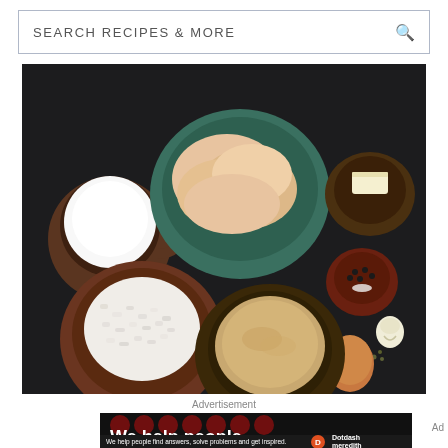SEARCH RECIPES & MORE
[Figure (photo): Overhead flat-lay of cooking ingredients on a dark background: a brown ceramic jug with milk, a teal bowl with raw chicken pieces, a dark bowl with butter, a brown bowl with chopped onions, a dark wood bowl with breadcrumbs, a small dark bowl with peppercorns and salt, a garlic clove, herb flakes, and a brown egg.]
Advertisement
[Figure (photo): Advertisement banner with black background, dark red polka dots, large bold white text reading 'We help people', and a bottom strip with smaller text 'We help people find answers, solve problems and get inspired.' alongside a red circle with D logo and Dotdash Meredith logo.]